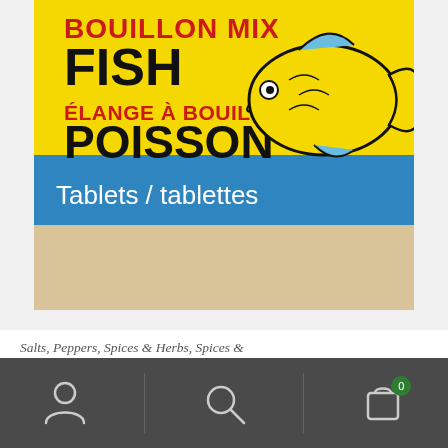[Figure (photo): Product packaging for Aurora Bouillon Mix Fish / Mélange à Bouillon Poisson showing yellow background with blue stripe, text in red and black, and illustrated yellow fish with blue fins. Bottom blue stripe reads 'Tablets / tablettes'.]
Salts, Peppers, Spices & Herbs, Spices & Seasonings
Bouillon mix Fish – Aurora
$2.25